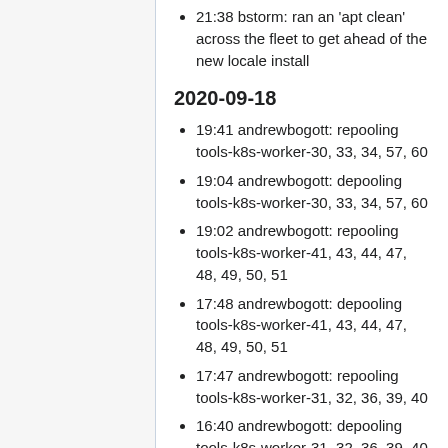21:38 bstorm: ran an 'apt clean' across the fleet to get ahead of the new locale install
2020-09-18
19:41 andrewbogott: repooling tools-k8s-worker-30, 33, 34, 57, 60
19:04 andrewbogott: depooling tools-k8s-worker-30, 33, 34, 57, 60
19:02 andrewbogott: repooling tools-k8s-worker-41, 43, 44, 47, 48, 49, 50, 51
17:48 andrewbogott: depooling tools-k8s-worker-41, 43, 44, 47, 48, 49, 50, 51
17:47 andrewbogott: repooling tools-k8s-worker-31, 32, 36, 39, 40
16:40 andrewbogott: depooling tools-k8s-worker-31, 32, 36, 39, 40
16:38 andrewbogott: repooling tools-